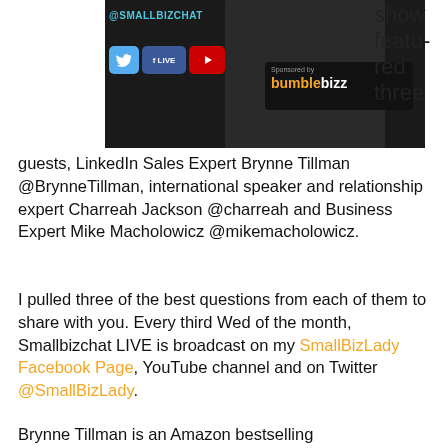[Figure (photo): SmallBizChat banner image showing a person in dark clothing, social media icons (Twitter bird, Facebook LIVE, YouTube), @SMALLBIZCHAT handle, and 'Sponsored by bumblebizz' badge. Partial right-side text reads 'show featured three'.]
guests, LinkedIn Sales Expert Brynne Tillman @BrynneTillman, international speaker and relationship expert Charreah Jackson @charreah and Business Expert Mike Macholowicz @mikemacholowicz.
I pulled three of the best questions from each of them to share with you. Every third Wed of the month, Smallbizchat LIVE is broadcast on my SmallBizLady Facebook Page, YouTube channel and on Twitter @SmallBizLady.
Brynne Tillman is an Amazon bestselling